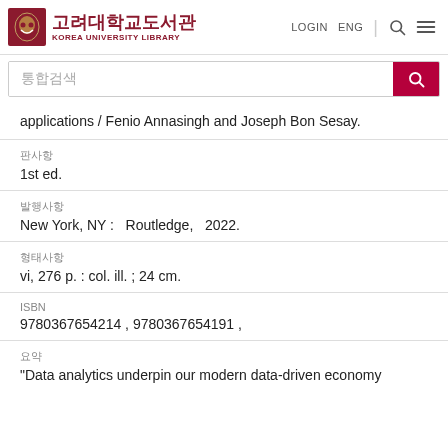고려대학교도서관 KOREA UNIVERSITY LIBRARY LOGIN ENG
통합검색
applications / Fenio Annasingh and Joseph Bon Sesay.
판사항
1st ed.
발행사항
New York, NY :   Routledge,   2022.
형태사항
vi, 276 p. : col. ill. ; 24 cm.
ISBN
9780367654214 , 9780367654191 ,
요약
"Data analytics underpin our modern data-driven economy